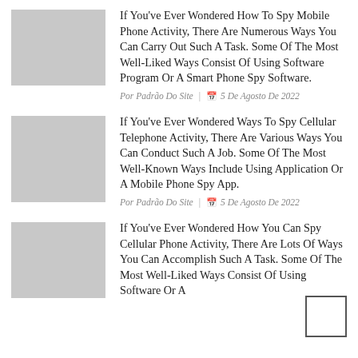[Figure (other): Gray placeholder thumbnail image for article 1]
If You've Ever Wondered How To Spy Mobile Phone Activity, There Are Numerous Ways You Can Carry Out Such A Task. Some Of The Most Well-Liked Ways Consist Of Using Software Program Or A Smart Phone Spy Software.
Por Padrão Do Site | 📅 5 De Agosto De 2022
[Figure (other): Gray placeholder thumbnail image for article 2]
If You've Ever Wondered Ways To Spy Cellular Telephone Activity, There Are Various Ways You Can Conduct Such A Job. Some Of The Most Well-Known Ways Include Using Application Or A Mobile Phone Spy App.
Por Padrão Do Site | 📅 5 De Agosto De 2022
[Figure (other): Gray placeholder thumbnail image for article 3]
If You've Ever Wondered How You Can Spy Cellular Phone Activity, There Are Lots Of Ways You Can Accomplish Such A Task. Some Of The Most Well-Liked Ways Consist Of Using Software Or A